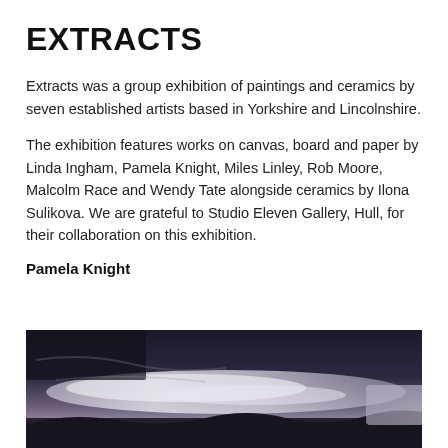EXTRACTS
Extracts was a group exhibition of paintings and ceramics by seven established artists based in Yorkshire and Lincolnshire.
The exhibition features works on canvas, board and paper by Linda Ingham, Pamela Knight, Miles Linley, Rob Moore, Malcolm Race and Wendy Tate alongside ceramics by Ilona Sulikova. We are grateful to Studio Eleven Gallery, Hull, for their collaboration on this exhibition.
Pamela Knight
[Figure (photo): Abstract painting with dark, moody tones — dark grey-black at top, lavender-purple mid-section with white misty areas, and dark landscape forms at the bottom.]